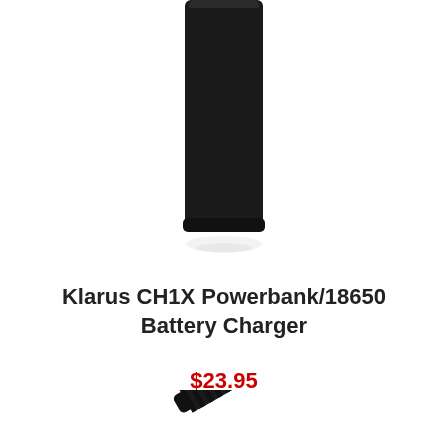[Figure (photo): Black cylindrical Klarus CH1X Powerbank/18650 Battery Charger product photo, upright orientation, mostly black body with slight reflection at bottom, cropped at top edge]
Klarus CH1X Powerbank/18650 Battery Charger
$23.95
[Figure (photo): Partial product photo of a black Klarus flashlight/torch, positioned diagonally with branding visible, cropped at bottom of page]